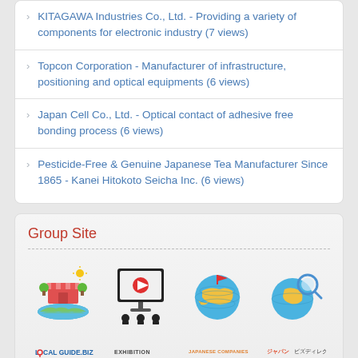KITAGAWA Industries Co., Ltd. - Providing a variety of components for electronic industry (7 views)
Topcon Corporation - Manufacturer of infrastructure, positioning and optical equipments (6 views)
Japan Cell Co., Ltd. - Optical contact of adhesive free bonding process (6 views)
Pesticide-Free & Genuine Japanese Tea Manufacturer Since 1865 - Kanei Hitokoto Seicha Inc. (6 views)
Group Site
[Figure (logo): LOCAL GUIDE.BIZ - Business District Directory Service logo with globe and market stall illustration]
[Figure (logo): EXHIBITION JAPAN PRODUCTS logo with presenter and video screen illustration]
[Figure (logo): JAPANESE COMPANIES OVERSEAS logo with globe illustration]
[Figure (logo): Japan Biz Directory logo in Japanese with globe and magnifier illustration]